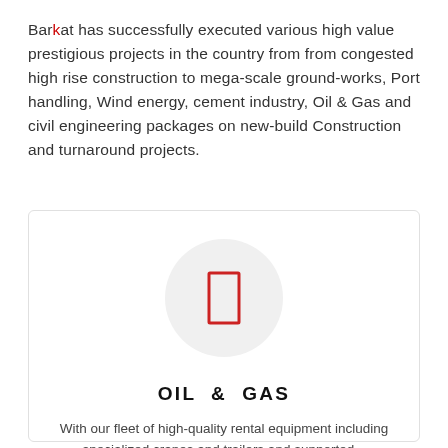Barkat has successfully executed various high value prestigious projects in the country from from congested high rise construction to mega-scale ground-works, Port handling, Wind energy, cement industry, Oil & Gas and civil engineering packages on new-build Construction and turnaround projects.
[Figure (illustration): A card with a light gray circular icon placeholder containing a red outlined rectangle/door icon, followed by the heading OIL & GAS and a short description about rental equipment.]
OIL & GAS
With our fleet of high-quality rental equipment including specialized cranes and trailers and supported...